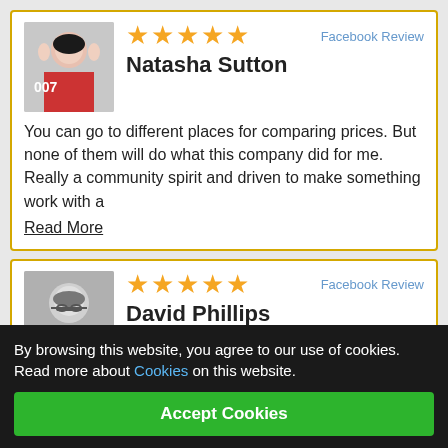[Figure (photo): Profile photo of Natasha Sutton - woman in red dress with 007 logo]
★★★★★
Facebook Review
Natasha Sutton
You can go to different places for comparing prices. But none of them will do what this company did for me. Really a community spirit and driven to make something work with a
Read More
[Figure (photo): Profile photo of David Phillips - older man with glasses, black and white]
★★★★★
Facebook Review
David Phillips
This ti...ll...............d
By browsing this website, you agree to our use of cookies. Read more about Cookies on this website.
Accept Cookies